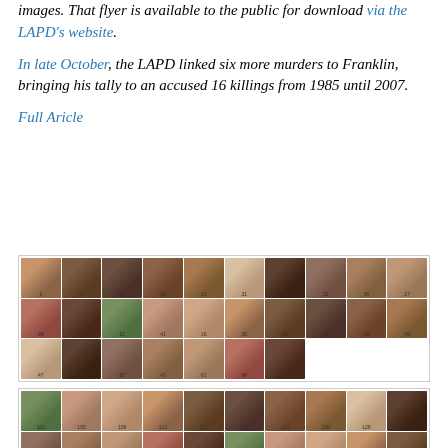images. That flyer is available to the public for download via the LAPD's website.
In late October, the LAPD linked six more murders to Franklin, bringing his tally to an accused 16 killings from 1985 until 2007.
Full Aricle
[Figure (photo): Grid of victim photographs numbered with small labels, arranged in three rows of ten photos each, showing portrait photos of individuals]
[Figure (photo): Second grid of victim photographs with numbered labels, showing two rows of portrait photos]